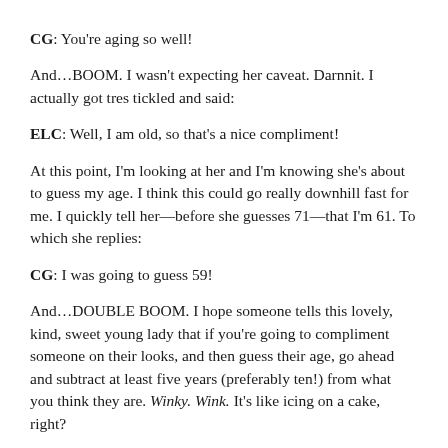CG: You're aging so well!
And…BOOM. I wasn't expecting her caveat. Darnnit. I actually got tres tickled and said:
ELC: Well, I am old, so that's a nice compliment!
At this point, I'm looking at her and I'm knowing she's about to guess my age. I think this could go really downhill fast for me. I quickly tell her—before she guesses 71—that I'm 61. To which she replies:
CG: I was going to guess 59!
And…DOUBLE BOOM. I hope someone tells this lovely, kind, sweet young lady that if you're going to compliment someone on their looks, and then guess their age, go ahead and subtract at least five years (preferably ten!) from what you think they are. Winky. Wink. It's like icing on a cake, right?
I'm still grinning and giggling as she now, for the first time, looks